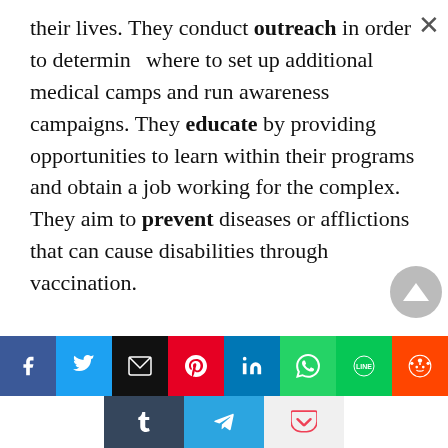their lives. They conduct outreach in order to determine where to set up additional medical camps and run awareness campaigns. They educate by providing opportunities to learn within their programs and obtain a job working for the complex. They aim to prevent diseases or afflictions that can cause disabilities through vaccination.

With these goals in mind, the HHCPRC provides free services to the people of Pakistan. For their patients who
[Figure (other): Social media share bar with icons for Facebook, Twitter, Email, Pinterest, LinkedIn, WhatsApp, LINE, Reddit (top row) and Tumblr, Telegram, Pocket (bottom row)]